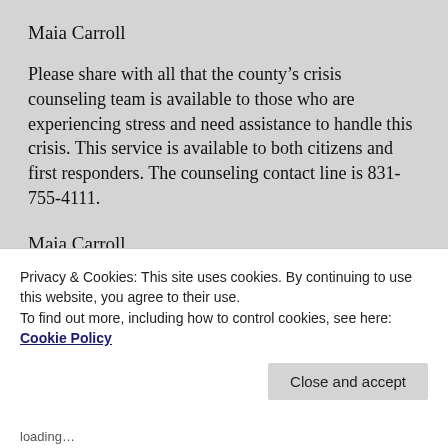Maia Carroll
Please share with all that the county’s crisis counseling team is available to those who are experiencing stress and need assistance to handle this crisis. This service is available to both citizens and first responders. The counseling contact line is 831-755-4111.
Maia Carroll
Privacy & Cookies: This site uses cookies. By continuing to use this website, you agree to their use.
To find out more, including how to control cookies, see here: Cookie Policy
Close and accept
loading…